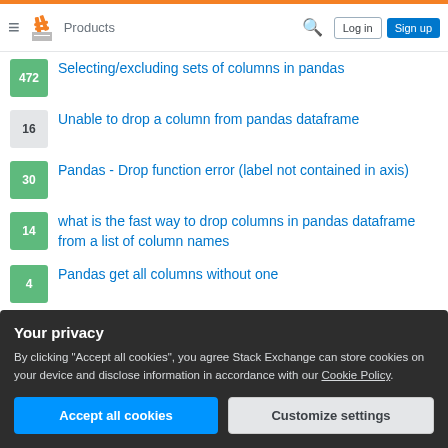[Figure (screenshot): Stack Overflow navigation bar with hamburger menu, logo, Products link, search icon, Log in and Sign up buttons]
472 Selecting/excluding sets of columns in pandas
16 Unable to drop a column from pandas dataframe
30 Pandas - Drop function error (label not contained in axis)
14 what is the fast way to drop columns in pandas dataframe from a list of column names
4 Pandas get all columns without one
2 How do I drop a column from multiple pandas dataframes using a loop?
How to drop column in your dataset with pandas?
Your privacy
By clicking "Accept all cookies", you agree Stack Exchange can store cookies on your device and disclose information in accordance with our Cookie Policy.
Accept all cookies  Customize settings